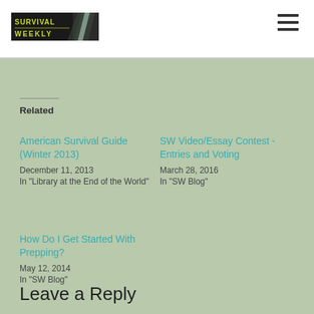[Figure (logo): Survival Weekly logo — dark banner with green/yellow text reading SURVIVAL WEEKLY and a lightning/waterfall graphic]
[Figure (other): Hamburger menu icon — three horizontal dark lines stacked]
Related
American Survival Guide (Winter 2013)
December 11, 2013
In "Library at the End of the World"
SW Video/Essay Contest - Entries and Voting
March 28, 2016
In "SW Blog"
How Do I Get Started With Prepping?
May 12, 2014
In "SW Blog"
Leave a Reply
Your email address will not be published. Required